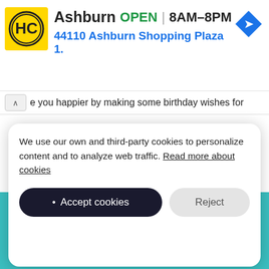[Figure (screenshot): HC (Hobby Craft / Home Care) store ad banner with yellow-black logo, business name Ashburn, OPEN status, hours 8AM-8PM, address 44110 Ashburn Shopping Plaza 1., and a blue navigation arrow icon]
e you happier by making some birthday wishes for you. We wish you happy and always happy.
[Figure (illustration): Teal/cyan background card with white serif text 'Happy birthday to someone']
We use our own and third-party cookies to personalize content and to analyze web traffic. Read more about cookies
Accept cookies
Reject